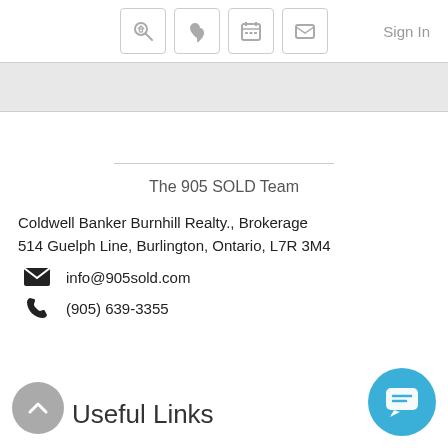Sign In
The 905 SOLD Team
Coldwell Banker Burnhill Realty., Brokerage
514 Guelph Line, Burlington, Ontario, L7R 3M4
info@905sold.com
(905) 639-3355
Useful Links